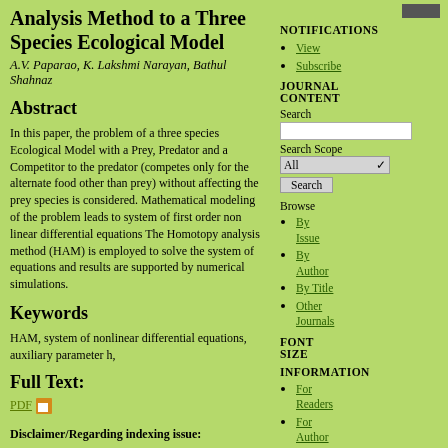Analysis Method to a Three Species Ecological Model
A.V. Paparao, K. Lakshmi Narayan, Bathul Shahnaz
Abstract
In this paper, the problem of a three species Ecological Model with a Prey, Predator and a Competitor to the predator (competes only for the alternate food other than prey) without affecting the prey species is considered. Mathematical modeling of the problem leads to system of first order non linear differential equations The Homotopy analysis method (HAM) is employed to solve the system of equations and results are supported by numerical simulations.
Keywords
HAM, system of nonlinear differential equations, auxiliary parameter h,
Full Text:
PDF
Disclaimer/Regarding indexing issue:
We have provided the online access of all issues and
NOTIFICATIONS
View
Subscribe
JOURNAL CONTENT
Search
Search Scope
All
Search
Browse
By Issue
By Author
By Title
Other Journals
FONT SIZE
INFORMATION
For Readers
For Author